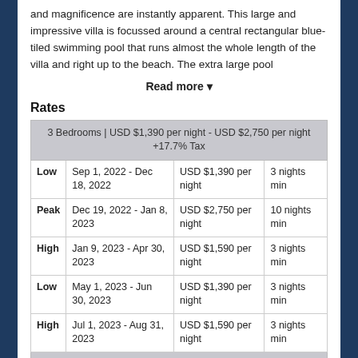and magnificence are instantly apparent. This large and impressive villa is focussed around a central rectangular blue-tiled swimming pool that runs almost the whole length of the villa and right up to the beach. The extra large pool
Read more ▾
Rates
| Season | Dates | Rate | Min Stay |
| --- | --- | --- | --- |
| 3 Bedrooms | USD $1,390 per night - USD $2,750 per night +17.7% Tax |  |  |  |
| Low | Sep 1, 2022 - Dec 18, 2022 | USD $1,390 per night | 3 nights min |
| Peak | Dec 19, 2022 - Jan 8, 2023 | USD $2,750 per night | 10 nights min |
| High | Jan 9, 2023 - Apr 30, 2023 | USD $1,590 per night | 3 nights min |
| Low | May 1, 2023 - Jun 30, 2023 | USD $1,390 per night | 3 nights min |
| High | Jul 1, 2023 - Aug 31, 2023 | USD $1,590 per night | 3 nights min |
| 6 Bedrooms | USD $1,790 per night - USD $2,750 per night |  |  |  |